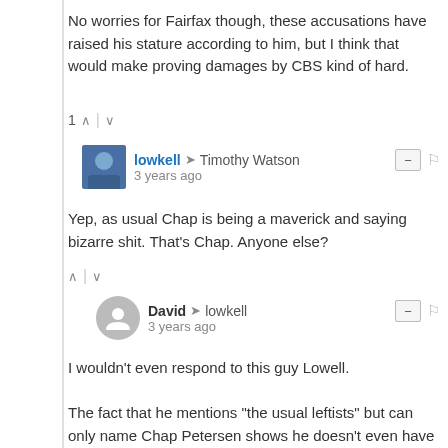No worries for Fairfax though, these accusations have raised his stature according to him, but I think that would make proving damages by CBS kind of hard.
1 ↑ | ↓
lowkell → Timothy Watson
3 years ago
Yep, as usual Chap is being a maverick and saying bizarre shit. That's Chap. Anyone else?
↑ | ↓
David → lowkell
3 years ago
I wouldn't even respond to this guy Lowell.

The fact that he mentions "the usual leftists" but can only name Chap Petersen shows he doesn't even have a basic understanding of VA Politics.
↑ | ↓
lowkell → David
3 years ago